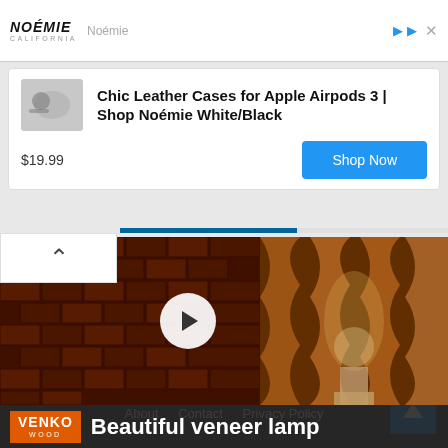[Figure (screenshot): Advertisement banner for Noémie California with logo, brand name, close and arrow icons]
[Figure (screenshot): Ad card showing Chic Leather Cases for Apple Airpods 3 | Shop Noémie White/Black, priced at $19.99 with Shop Now button and product thumbnail]
[Figure (screenshot): Video thumbnail showing a veneer lamp with dark wood/brick background, play button overlay, and VENKO WOOD Beautiful veneer lamp title bar]
[Figure (screenshot): Footer with Facebook and Twitter social icons, copyright text, navigation links, and back-to-top button]